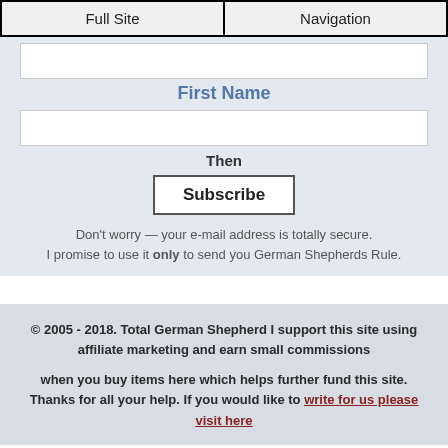Full Site | Navigation
First Name
Then
Subscribe
Don't worry — your e-mail address is totally secure. I promise to use it only to send you German Shepherds Rule.
© 2005 - 2018. Total German Shepherd I support this site using affiliate marketing and earn small commissions when you buy items here which helps further fund this site. Thanks for all your help. If you would like to write for us please visit here
x